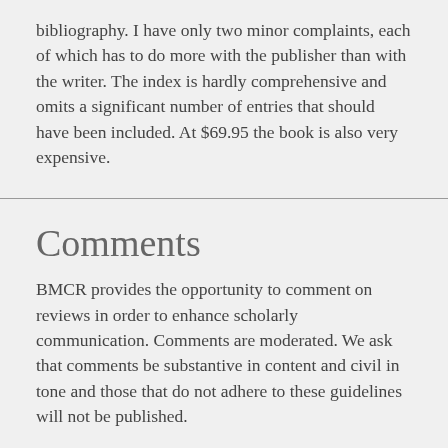bibliography. I have only two minor complaints, each of which has to do more with the publisher than with the writer. The index is hardly comprehensive and omits a significant number of entries that should have been included. At $69.95 the book is also very expensive.
Comments
BMCR provides the opportunity to comment on reviews in order to enhance scholarly communication. Comments are moderated. We ask that comments be substantive in content and civil in tone and those that do not adhere to these guidelines will not be published.